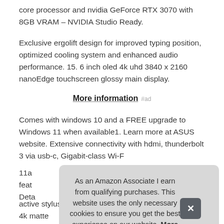core processor and nvidia GeForce RTX 3070 with 8GB VRAM – NVIDIA Studio Ready.
Exclusive ergolift design for improved typing position, optimized cooling system and enhanced audio performance. 15. 6 inch oled 4k uhd 3840 x 2160 nanoEdge touchscreen glossy main display.
More information #ad
Comes with windows 10 and a FREE upgrade to Windows 11 when available1. Learn more at ASUS website. Extensive connectivity with hdmi, thunderbolt 3 via usb-c, Gigabit-class Wi-F
11a feat Deta
active stylus pen included. Screenpad plus: 14 inch 4k matte
As an Amazon Associate I earn from qualifying purchases. This website uses the only necessary cookies to ensure you get the best experience on our website. More information